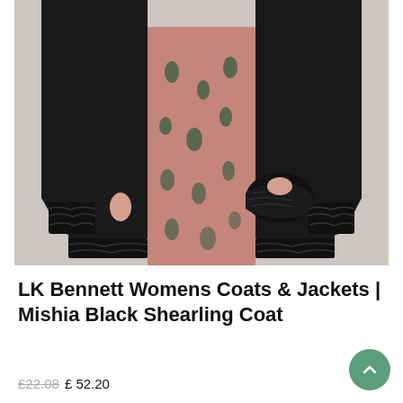[Figure (photo): A woman wearing an open black shearling/faux fur coat with fur-trimmed cuffs and hem over a dusty rose floral dress, photographed from chest to mid-calf against a light grey background.]
LK Bennett Womens Coats & Jackets | Mishia Black Shearling Coat
£22.08  £ 52.20